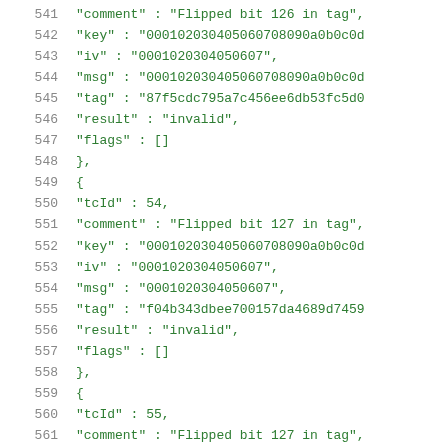541    "comment" : "Flipped bit 126 in tag",
542    "key" : "000102030405060708090a0b0c0d
543    "iv" : "0001020304050607",
544    "msg" : "000102030405060708090a0b0c0d
545    "tag" : "87f5cdc795a7c456ee6db53fc5d0
546    "result" : "invalid",
547    "flags" : []
548  },
549  {
550    "tcId" : 54,
551    "comment" : "Flipped bit 127 in tag",
552    "key" : "000102030405060708090a0b0c0d
553    "iv" : "0001020304050607",
554    "msg" : "0001020304050607",
555    "tag" : "f04b343dbee700157da4689d7459
556    "result" : "invalid",
557    "flags" : []
558  },
559  {
560    "tcId" : 55,
561    "comment" : "Flipped bit 127 in tag",